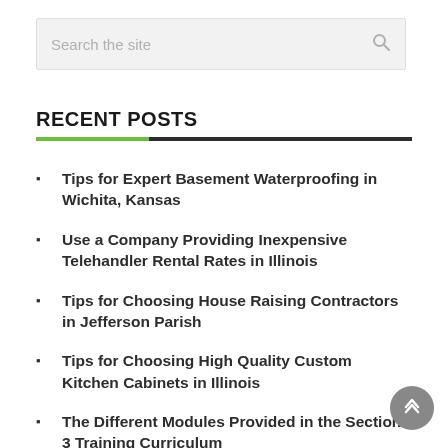[Figure (screenshot): Search bar with placeholder text 'Search the site' and a magnifying glass icon on the right]
RECENT POSTS
Tips for Expert Basement Waterproofing in Wichita, Kansas
Use a Company Providing Inexpensive Telehandler Rental Rates in Illinois
Tips for Choosing House Raising Contractors in Jefferson Parish
Tips for Choosing High Quality Custom Kitchen Cabinets in Illinois
The Different Modules Provided in the Section 3 Training Curriculum